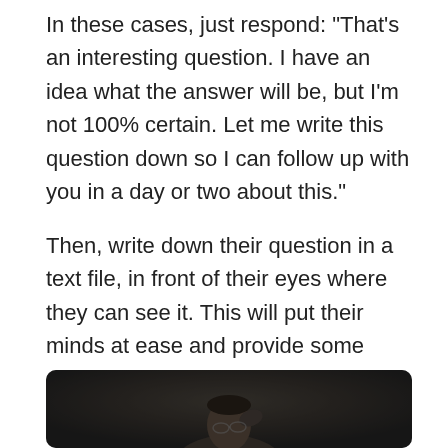In these cases, just respond: "That's an interesting question. I have an idea what the answer will be, but I'm not 100% certain. Let me write this question down so I can follow up with you in a day or two about this."
Then, write down their question in a text file, in front of their eyes where they can see it. This will put their minds at ease and provide some closure.
[Figure (photo): A person with glasses and dark hair, hand raised to their head, appearing to be thinking or stressed, photographed against a dark background. Photo is partially cropped at the bottom of the page.]